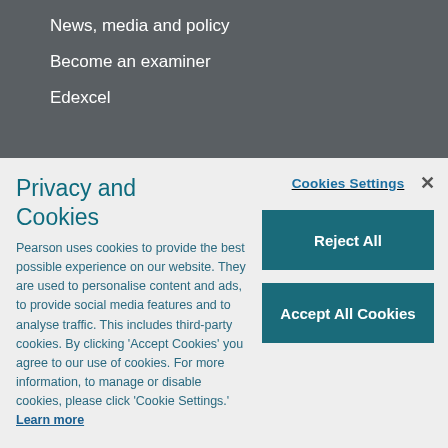News, media and policy
Become an examiner
Edexcel
Privacy and Cookies
Cookies Settings
×
Reject All
Accept All Cookies
Pearson uses cookies to provide the best possible experience on our website. They are used to personalise content and ads, to provide social media features and to analyse traffic. This includes third-party cookies. By clicking 'Accept Cookies' you agree to our use of cookies. For more information, to manage or disable cookies, please click 'Cookie Settings.' Learn more